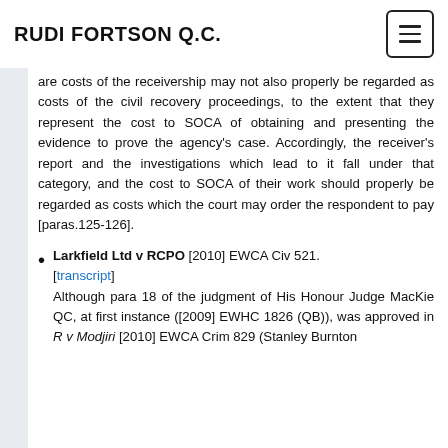RUDI FORTSON Q.C.
are costs of the receivership may not also properly be regarded as costs of the civil recovery proceedings, to the extent that they represent the cost to SOCA of obtaining and presenting the evidence to prove the agency's case. Accordingly, the receiver's report and the investigations which lead to it fall under that category, and the cost to SOCA of their work should properly be regarded as costs which the court may order the respondent to pay [paras.125-126].
Larkfield Ltd v RCPO [2010] EWCA Civ 521. [transcript] Although para 18 of the judgment of His Honour Judge MacKie QC, at first instance ([2009] EWHC 1826 (QB)), was approved in R v Modjiri [2010] EWCA Crim 829 (Stanley Burnton